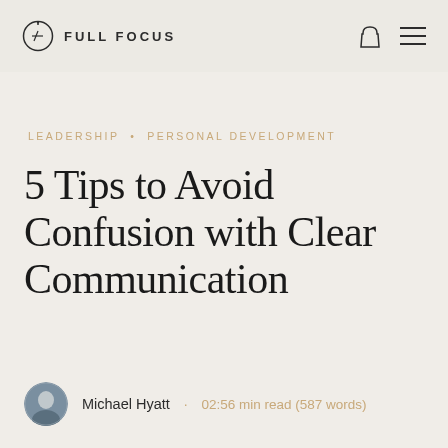FULL FOCUS
LEADERSHIP • PERSONAL DEVELOPMENT
5 Tips to Avoid Confusion with Clear Communication
Michael Hyatt · 02:56 min read (587 words)